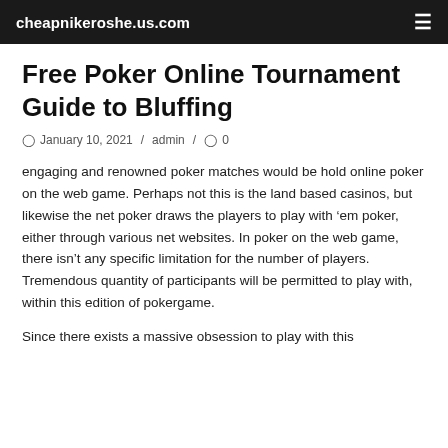cheapnikeroshe.us.com
Free Poker Online Tournament Guide to Bluffing
January 10, 2021 / admin / 0
engaging and renowned poker matches would be hold online poker on the web game. Perhaps not this is the land based casinos, but likewise the net poker draws the players to play with ‘em poker, either through various net websites. In poker on the web game, there isn’t any specific limitation for the number of players. Tremendous quantity of participants will be permitted to play with, within this edition of pokergame.
Since there exists a massive obsession to play with this